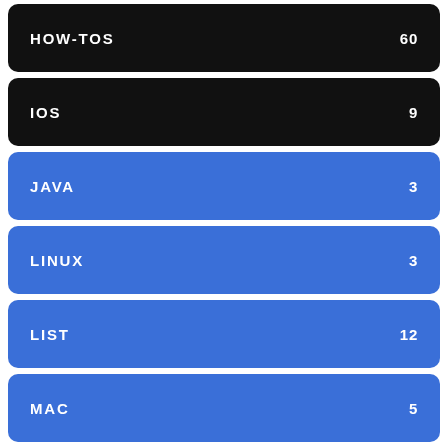HOW-TOS 60
IOS 9
JAVA 3
LINUX 3
LIST 12
MAC 5
[Figure (photo): Advertisement banner for Bibi and Tina YouTube Channel showing cartoon characters]
Bibi and Tina YouTube Channel
Ad